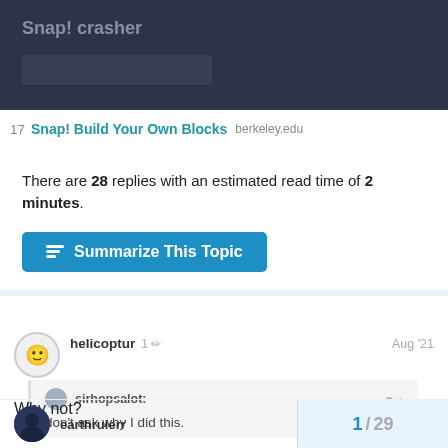Snap! crasher
17 Snap! Build Your Own Blocks berkeley.edu
There are 28 replies with an estimated read time of 2 minutes.
Summarize This Topic
helicoptur  1  Aug '21
sirhopsalot: don't ask why I did this.
Why not?
earthrulerr  1 / 29